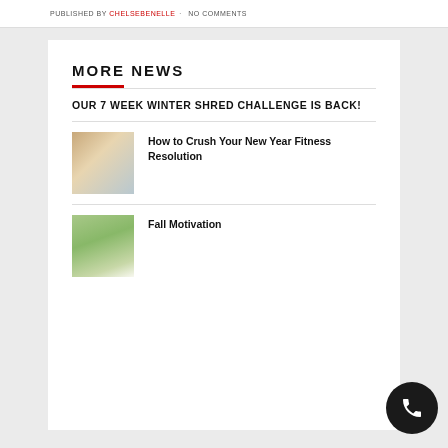PUBLISHED BY CHELSEBENELLE · NO COMMENTS
MORE NEWS
OUR 7 WEEK WINTER SHRED CHALLENGE IS BACK!
[Figure (photo): Person doing yoga or stretching on a mat]
How to Crush Your New Year Fitness Resolution
[Figure (photo): Group of people outdoors at a fitness event]
Fall Motivation